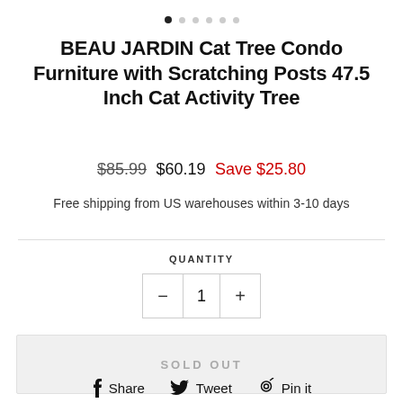[Figure (other): Image carousel dots navigation: one filled dark dot and five light grey dots]
BEAU JARDIN Cat Tree Condo Furniture with Scratching Posts 47.5 Inch Cat Activity Tree
$85.99  $60.19  Save $25.80
Free shipping from US warehouses within 3-10 days
QUANTITY
− 1 +
SOLD OUT
Share  Tweet  Pin it